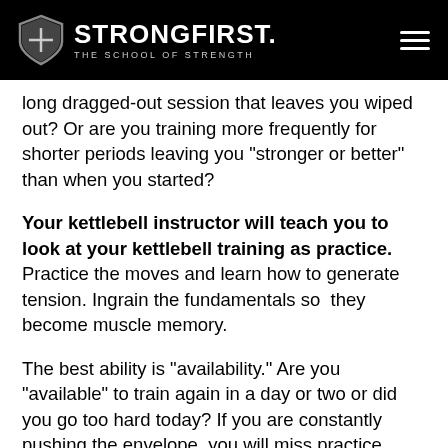StrongFirst. The School of Strength
long dragged-out session that leaves you wiped out? Or are you training more frequently for shorter periods leaving you “stronger or better” than when you started?
Your kettlebell instructor will teach you to look at your kettlebell training as practice. Practice the moves and learn how to generate tension. Ingrain the fundamentals so they become muscle memory.
The best ability is “availability.” Are you “available” to train again in a day or two or did you go too hard today? If you are constantly pushing the envelope, you will miss practice sessions. In the long term, you’ll be